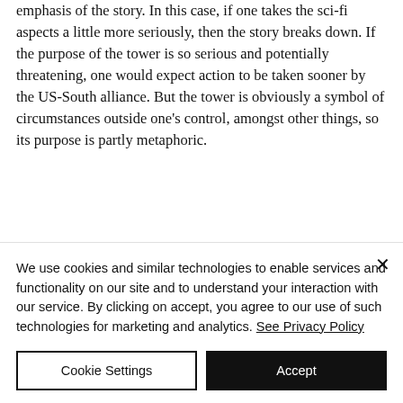emphasis of the story. In this case, if one takes the sci-fi aspects a little more seriously, then the story breaks down. If the purpose of the tower is so serious and potentially threatening, one would expect action to be taken sooner by the US-South alliance. But the tower is obviously a symbol of circumstances outside one's control, amongst other things, so its purpose is partly metaphoric.
We use cookies and similar technologies to enable services and functionality on our site and to understand your interaction with our service. By clicking on accept, you agree to our use of such technologies for marketing and analytics. See Privacy Policy
Cookie Settings
Accept